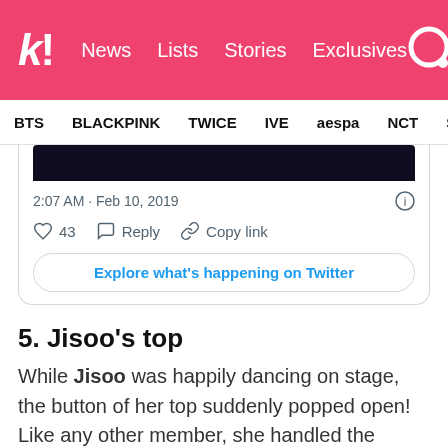k! News  Lists  Stories  Exclusives
BTS  BLACKPINK  TWICE  IVE  aespa  NCT  SEVE
[Figure (screenshot): Partial Twitter embed card showing a dark image, timestamp 2:07 AM · Feb 10, 2019, 43 likes, Reply, Copy link buttons, and Explore what's happening on Twitter button]
5. Jisoo's top
While Jisoo was happily dancing on stage, the button of her top suddenly popped open! Like any other member, she handled the situation well and professionally!
[Figure (screenshot): Partial bottom of another Twitter embed card showing an avatar circle]